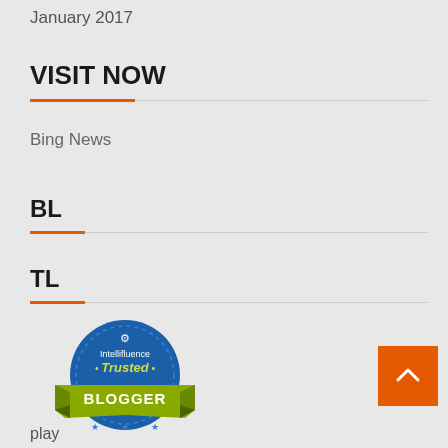January 2017
VISIT NOW
Bing News
BL
TL
[Figure (logo): Intellifluence Trusted Blogger badge - circular blue badge with gold banner reading BLOGGER]
play